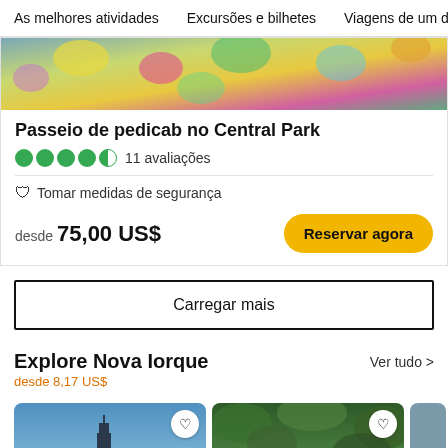As melhores atividades   Excursões e bilhetes   Viagens de um
[Figure (photo): Colorful photo of flowers and foliage at top of card]
Passeio de pedicab no Central Park
11 avaliações
Tomar medidas de segurança
desde 75,00 US$
Reservar agora
Carregar mais
Explore Nova Iorque
desde 8,17 US$
Ver tudo >
[Figure (photo): City skyline photo with tall buildings]
[Figure (photo): Zoo animals photo with penguins]